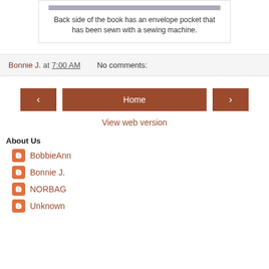Back side of the book has an envelope pocket that has been sewn with a sewing machine.
Bonnie J. at 7:00 AM   No comments:
‹  Home  ›
View web version
About Us
BobbieAnn
Bonnie J.
NORBAG
Unknown